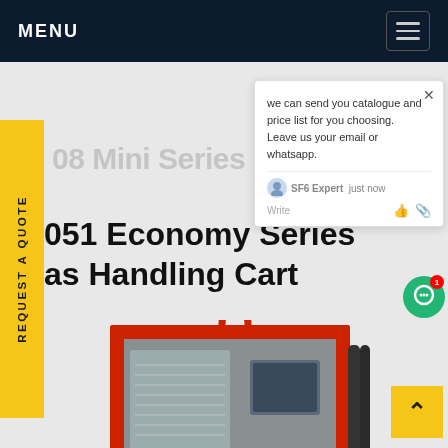MENU
REQUEST A QUOTE
08 Mini Series mod...
051 Economy Series Gas Handling Cart
[Figure (photo): Red and grey SF6 gas handling cart equipment unit with display panel, hoses, and industrial fittings]
we can send you catalogue and price list for you choosing. Leave us your email or whatsapp.
SF6 Expert   just now
Write